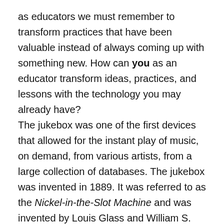as educators we must remember to transform practices that have been valuable instead of always coming up with something new. How can you as an educator transform ideas, practices, and lessons with the technology you may already have? The jukebox was one of the first devices that allowed for the instant play of music, on demand, from various artists, from a large collection of databases. The jukebox was invented in 1889. It was referred to as the Nickel-in-the-Slot Machine and was invented by Louis Glass and William S. Arnold who placed a coin-operated Edison cylinder phonograph in the Palais Royale Saloon in San Francisco. It was an Edison Class M Electric Phonograph in an oak cabinet that was refitted with a coin mechanism patented (U.S. 428,750) by Glass and Arnold. There was no amplification (wow, similar to the iPod) and patrons had